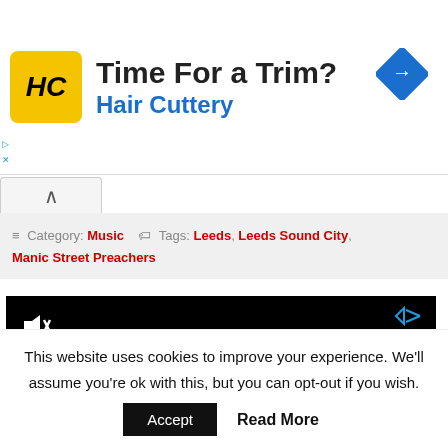[Figure (logo): Hair Cuttery advertisement banner with HC logo, 'Time For a Trim?' headline, 'Hair Cuttery' subtitle in blue, and a blue navigation/directions diamond icon on the right]
Category: Music   Tags: Leeds, Leeds Sound City, Manic Street Preachers
[Figure (screenshot): Black video player area with muted/sound-off icon at top-left and a small ad icon at top-right]
This website uses cookies to improve your experience. We'll assume you're ok with this, but you can opt-out if you wish.
Accept   Read More